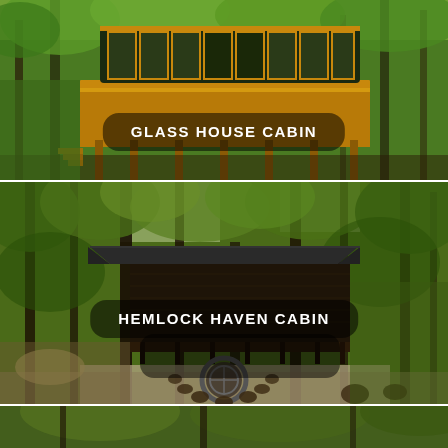[Figure (photo): Glass House Cabin exterior photo: modern two-story cabin with large glass windows and wooden deck, surrounded by green forest trees]
GLASS HOUSE CABIN
[Figure (photo): Hemlock Haven Cabin aerial/elevated photo: dark log cabin with metal roof in forest, with gravel fire pit area with log seats in foreground]
HEMLOCK HAVEN CABIN
[Figure (photo): Partial view of a third cabin, bottom of page, showing trees and forest background]